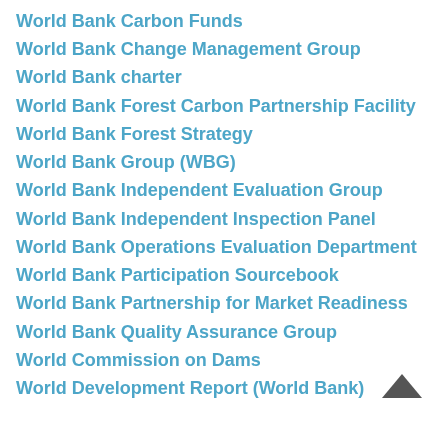World Bank Carbon Funds
World Bank Change Management Group
World Bank charter
World Bank Forest Carbon Partnership Facility
World Bank Forest Strategy
World Bank Group (WBG)
World Bank Independent Evaluation Group
World Bank Independent Inspection Panel
World Bank Operations Evaluation Department
World Bank Participation Sourcebook
World Bank Partnership for Market Readiness
World Bank Quality Assurance Group
World Commission on Dams
World Development Report (World Bank)